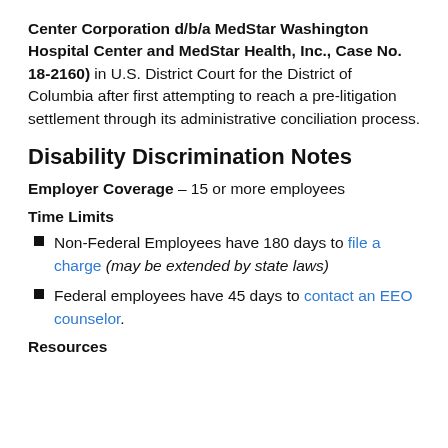Center Corporation d/b/a MedStar Washington Hospital Center and MedStar Health, Inc., Case No. 18-2160) in U.S. District Court for the District of Columbia after first attempting to reach a pre-litigation settlement through its administrative conciliation process.
Disability Discrimination Notes
Employer Coverage – 15 or more employees
Time Limits
Non-Federal Employees have 180 days to file a charge (may be extended by state laws)
Federal employees have 45 days to contact an EEO counselor.
Resources